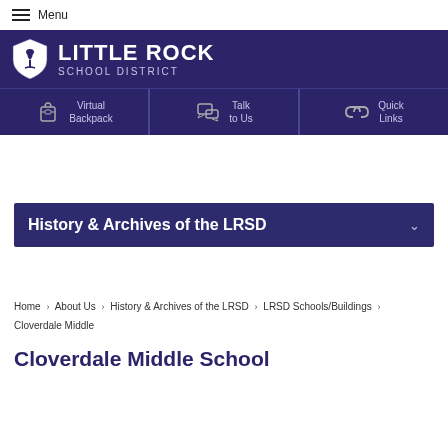Menu
[Figure (logo): Little Rock School District logo with shield and text]
[Figure (infographic): Navigation bar with Virtual Backpack, Talk to Us, Quick Links icons]
History & Archives of the LRSD
Home > About Us > History & Archives of the LRSD > LRSD Schools/Buildings > Cloverdale Middle
Cloverdale Middle School